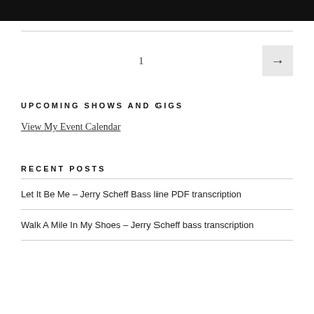[Figure (other): Black header bar at top of page]
1
UPCOMING SHOWS AND GIGS
View My Event Calendar
RECENT POSTS
Let It Be Me – Jerry Scheff Bass line PDF transcription
Walk A Mile In My Shoes – Jerry Scheff bass transcription